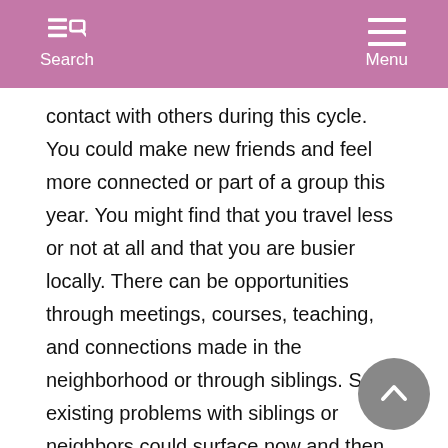Search  Menu
contact with others during this cycle. You could make new friends and feel more connected or part of a group this year. You might find that you travel less or not at all and that you are busier locally. There can be opportunities through meetings, courses, teaching, and connections made in the neighborhood or through siblings. Some existing problems with siblings or neighbors could surface now and then can be put to rest. There can be more communication, movement, teaching, learning, writing, and errands in your job and daily routines. Some may work with a relative.
The most favorable periods for these matters occur while Jupiter is in direct motion in your solar third house, from